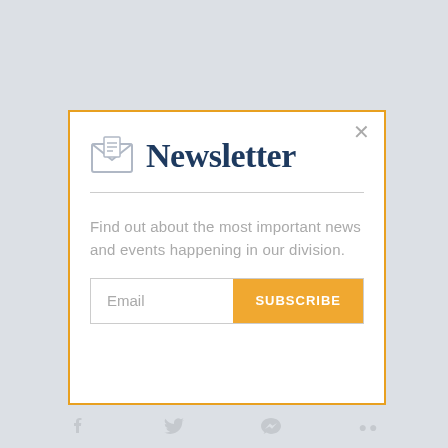Newsletter
Find out about the most important news and events happening in our division.
Email
SUBSCRIBE